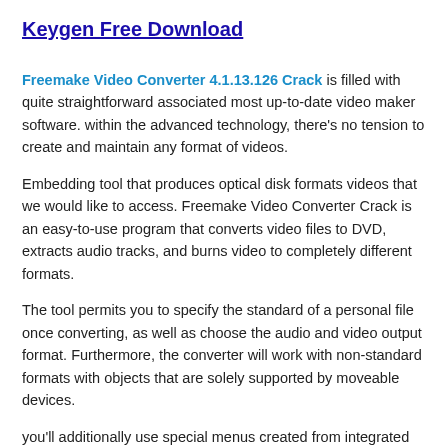Keygen Free Download
Freemake Video Converter 4.1.13.126 Crack is filled with quite straightforward associated most up-to-date video maker software. within the advanced technology, there’s no tension to create and maintain any format of videos.
Embedding tool that produces optical disk formats videos that we would like to access. Freemake Video Converter Crack is an easy-to-use program that converts video files to DVD, extracts audio tracks, and burns video to completely different formats.
The tool permits you to specify the standard of a personal file once converting, as well as choose the audio and video output format. Furthermore, the converter will work with non-standard formats with objects that are solely supported by moveable devices.
you’ll additionally use special menus created from integrated templates once recording any optical disk. The Converter supports a various hundred video formats. you’ll convert videos between a